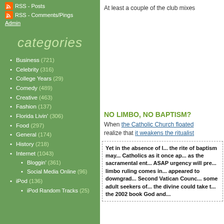RSS - Posts
RSS - Comments/Pings
Admin
categories
Business (721)
Celebrity (316)
College Years (29)
Comedy (489)
Creative (463)
Fashion (137)
Florida Livin' (306)
Food (297)
General (174)
History (218)
Internet (1043)
Bloggin' (361)
Social Media Online (96)
iPod (136)
iPod Random Tracks (25)
At least a couple of the club mixes
NO LIMBO, NO BAPTISM?
When the Catholic Church floated realize that it weakens the ritualist
Yet in the absence of l... the rite of baptism may... Catholics as it once ap... as the sacramental ent... ASAP urgency will pre... limbo ruling comes in... appeared to downgrad... Second Vatican Counc... some adult seekers of... the divine could take t... the 2002 book God and...